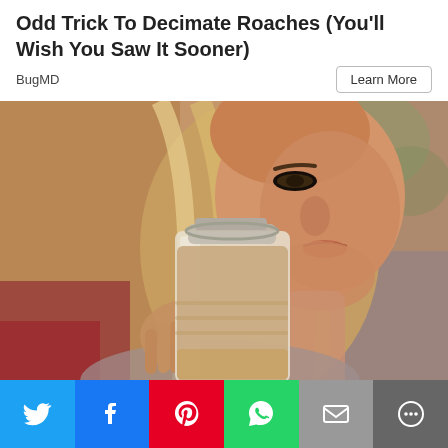Odd Trick To Decimate Roaches (You'll Wish You Saw It Sooner)
BugMD
Learn More
[Figure (photo): Woman drinking from a glass mason jar containing a light brown smoothie or shake, with long blonde hair, blurred colorful background]
[Figure (infographic): Social sharing bar with six buttons: Twitter (blue), Facebook (blue), Pinterest (red), WhatsApp (green), Email (gray), More (dark gray)]